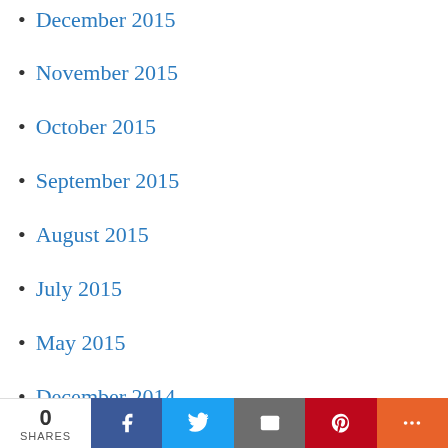December 2015
November 2015
October 2015
September 2015
August 2015
July 2015
May 2015
December 2014
November 2014
October 2014
September 2014
August 2014
July 2014
June 2014
May 2014
0 SHARES | Facebook | Twitter | Email | Pinterest | More